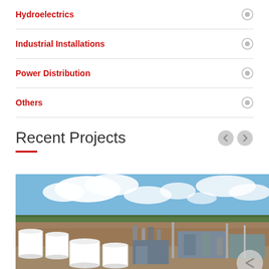Hydroelectrics
Industrial Installations
Power Distribution
Others
Recent Projects
[Figure (photo): Aerial view of an industrial facility with large white cylindrical storage tanks, refinery structures, and industrial equipment under a partly cloudy blue sky]